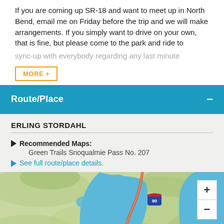If you are coming up SR-18 and want to meet up in North Bend, email me on Friday before the trip and we will make arrangements. If you simply want to drive on your own, that is fine, but please come to the park and ride to sync-up with everybody regarding any last minute
MORE +
Route/Place
ERLING STORDAHL
Recommended Maps: Green Trails Snoqualmie Pass No. 207
See full route/place details.
[Figure (map): Interactive map showing the Erling Stordahl route/place area near Snoqualmie Pass, with blue water bodies, green terrain, and a road with US-90 marker. Map zoom controls (+/-) visible in top right corner.]